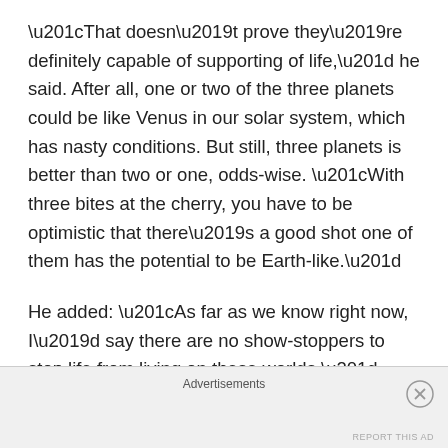“That doesn’t prove they’re definitely capable of supporting of life,” he said. After all, one or two of the three planets could be like Venus in our solar system, which has nasty conditions. But still, three planets is better than two or one, odds-wise. “With three bites at the cherry, you have to be optimistic that there’s a good shot one of them has the potential to be Earth-like.”
He added: “As far as we know right now, I’d say there are no show-stoppers to stop life from living on these worlds.”
There are a couple factors to consider, though. Astronomers will have to study the star further (it could
Advertisements